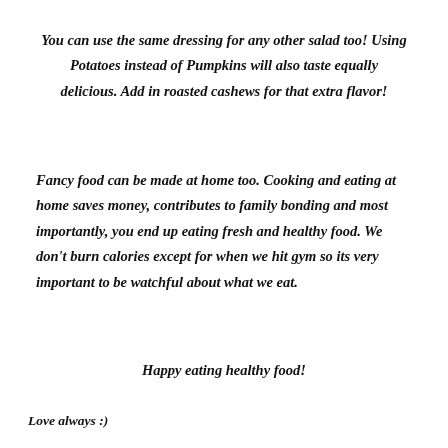You can use the same dressing for any other salad too! Using Potatoes instead of Pumpkins will also taste equally delicious. Add in roasted cashews for that extra flavor!
Fancy food can be made at home too. Cooking and eating at home saves money, contributes to family bonding and most importantly, you end up eating fresh and healthy food. We don't burn calories except for when we hit gym so its very important to be watchful about what we eat.
Happy eating healthy food!
Love always :)